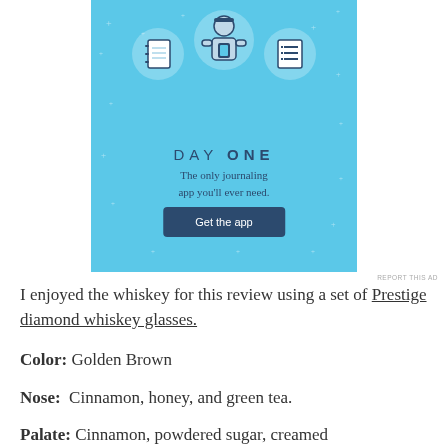[Figure (illustration): Day One app advertisement banner with light blue background. Shows three circular icons (notebook, person with phone, checklist) at top. Text reads 'DAY ONE - The only journaling app you'll ever need.' with a dark blue 'Get the app' button.]
I enjoyed the whiskey for this review using a set of Prestige diamond whiskey glasses.
Color: Golden Brown
Nose:  Cinnamon, honey, and green tea.
Palate: Cinnamon, powdered sugar, creamed